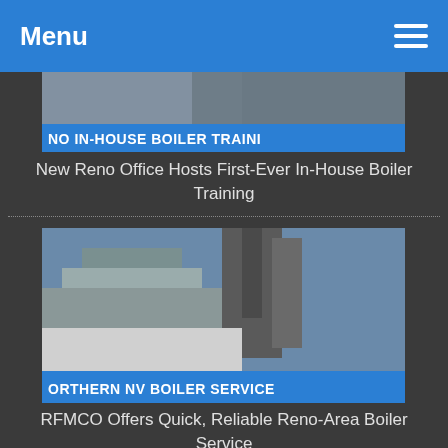Menu
[Figure (photo): Partial thumbnail image of boiler training with blue overlay text reading 'NO IN-HOUSE BOILER TRAINI']
New Reno Office Hosts First-Ever In-House Boiler Training
[Figure (photo): Industrial boiler service equipment and truck with blue overlay text reading 'ORTHERN NV BOILER SERVICE']
RFMCO Offers Quick, Reliable Reno-Area Boiler Service
CONTACT INFO
25920 Eden Landing Rd.